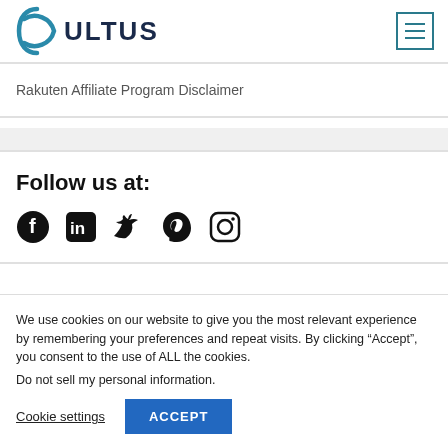CULTUS
Rakuten Affiliate Program Disclaimer
Follow us at:
[Figure (illustration): Social media icons: Facebook, LinkedIn, Twitter, Pinterest, Instagram]
We use cookies on our website to give you the most relevant experience by remembering your preferences and repeat visits. By clicking “Accept”, you consent to the use of ALL the cookies.
Do not sell my personal information.
Cookie settings    ACCEPT